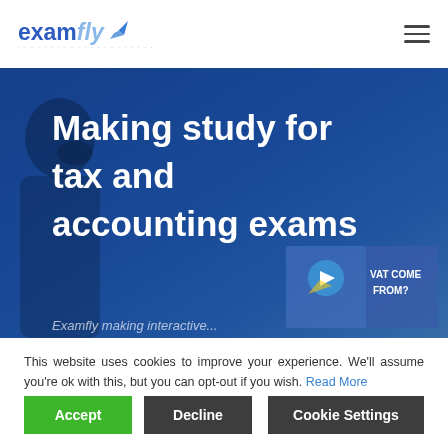examfly
Making study for tax and accounting exams
[Figure (screenshot): Hero banner with blue gradient background, person silhouette on left, large white heading text, and a partially visible video thumbnail in the bottom right showing VAT COME FROM? text]
This website uses cookies to improve your experience. We'll assume you're ok with this, but you can opt-out if you wish. Read More
Accept
Decline
Cookie Settings